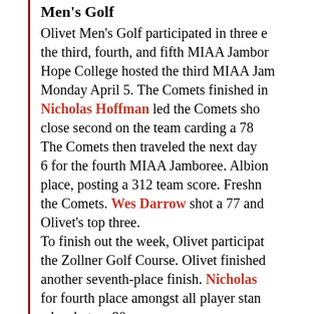Men's Golf
Olivet Men's Golf participated in three events this week: the third, fourth, and fifth MIAA Jamborees. Hope College hosted the third MIAA Jamboree on Monday April 5. The Comets finished in... Nicholas Hoffman led the Comets sho... close second on the team carding a 78... The Comets then traveled the next day... 6 for the fourth MIAA Jamboree. Albion... place, posting a 312 team score. Freshman... the Comets. Wes Darrow shot a 77 and... Olivet's top three. To finish out the week, Olivet participated... the Zollner Golf Course. Olivet finished another seventh-place finish. Nicholas... for fourth place amongst all player standings... who shot an 80.